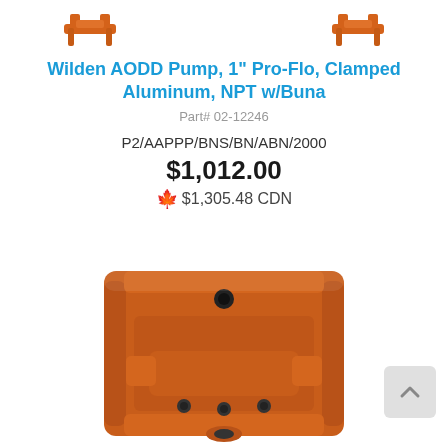[Figure (photo): Two orange Wilden AODD pump connector/clamp pieces shown at top of page]
Wilden AODD Pump, 1" Pro-Flo, Clamped Aluminum, NPT w/Buna
Part# 02-12246
P2/AAPPP/BNS/BN/ABN/2000
$1,012.00
🍁 $1,305.48 CDN
[Figure (photo): Orange Wilden AODD pump body shown from front, with clamp connections visible]